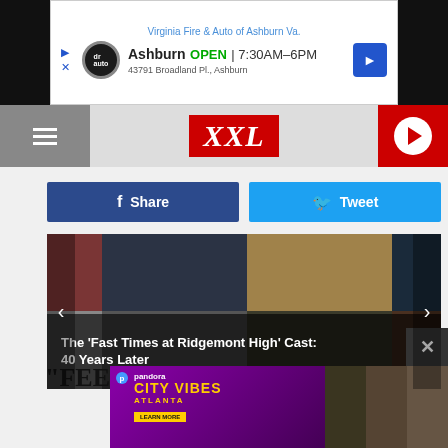[Figure (screenshot): Advertisement banner for Virginia Fire & Auto of Ashburn Va. showing Ashburn location open 7:30AM-6PM]
XXL
[Figure (screenshot): Facebook Share and Twitter Tweet social sharing buttons]
[Figure (photo): Slideshow image grid showing The Fast Times at Ridgemont High cast members]
The 'Fast Times at Ridgemont High' Cast: 40 Years Later
"FEEL."
[Figure (screenshot): Pandora City Vibes Atlanta advertisement with artists photos at bottom]